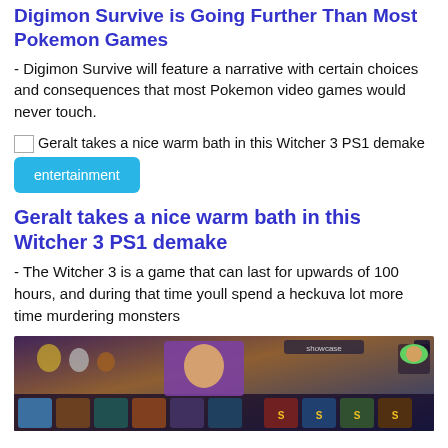Digimon Survive is Going Further Than Most Pokemon Games
- Digimon Survive will feature a narrative with certain choices and consequences that most Pokemon video games would never touch.
[Figure (photo): Placeholder image thumbnail for article about Geralt takes a nice warm bath in this Witcher 3 PS1 demake]
entertainment
Geralt takes a nice warm bath in this Witcher 3 PS1 demake
- The Witcher 3 is a game that can last for upwards of 100 hours, and during that time youll spend a heckuva lot more time murdering monsters
[Figure (screenshot): Screenshot of a video game UI showing character portraits and a showcase panel, colorful arena-style game interface]